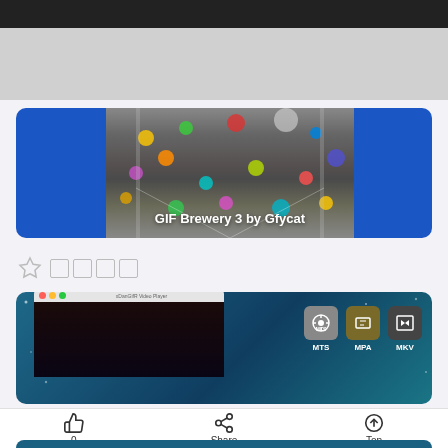[Figure (screenshot): Top dark navigation bar]
[Figure (screenshot): Gray card/banner area at top]
[Figure (screenshot): Blue card with colorful bouncing balls in airplane tunnel, labeled 'GIF Brewery 3 by Gfycat']
[Figure (screenshot): Star rating row with empty star icon and four empty rating boxes]
[Figure (screenshot): App screenshot card showing video player window and MTS, MPA, MKV format icons on teal background]
[Figure (screenshot): Action bar with thumbs up (0), Share, and Top buttons]
[Figure (screenshot): Bottom strip of another card partially visible]